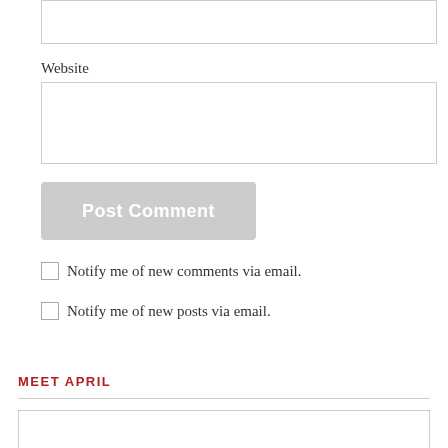Website
Post Comment
Notify me of new comments via email.
Notify me of new posts via email.
MEET APRIL